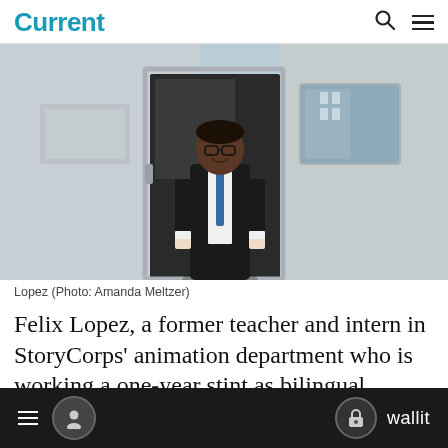Current
[Figure (photo): A man in a dark suit and blue tie stands in the open doorway of an Airstream-style silver trailer/mobile booth, smiling at the camera. The background shows a building and clear sky.]
Lopez (Photo: Amanda Meltzer)
Felix Lopez, a former teacher and intern in StoryCorps' animation department who is working a one-year stint as bilingual facilitator for the mobile booth, described the
= [user icon]  [lock icon] wallit